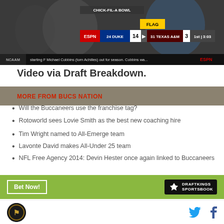[Figure (screenshot): ESPN broadcast screenshot showing Chick-fil-A Bowl scoreboard: Duke 14 vs Texas A&M 3, 1st quarter 3:03, FLAG. Ticker reads: NCAAM starting F Michael Cobbins (torn Achilles) out for season. Cobbins wa...]
Video via Draft Breakdown.
MORE FROM BUCS NATION
Will the Buccaneers use the franchise tag?
Rotoworld sees Lovie Smith as the best new coaching hire
Tim Wright named to All-Emerge team
Lavonte David makes All-Under 25 team
NFL Free Agency 2014: Devin Hester once again linked to Buccaneers
[Figure (screenshot): DraftKings Sportsbook advertisement banner with green background, Bet Now! button, and DraftKings logo]
Leonard Fournette
Site logo and social media icons (Twitter, Facebook)